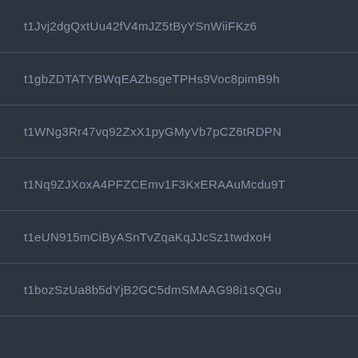t1Jvj2dgQxtUu42fV4mJZ5tByYSnWiiFKz6
t1gbZDTATYBWqEAZbsgeTPHs9Voc8pimB9h
t1WNg3Rr47vq92ZxX1pyGMyVb7pCZ6tRDPN
t1Nq9ZJXoxA4PFZCEmv1F3KxERAAuMcdu9T
t1eUN915mCiByASnTvZqaKqJJcSz1twdxoH
t1bozSzUa8b5dYjB2GC5dmSMAAG98i1sQGu